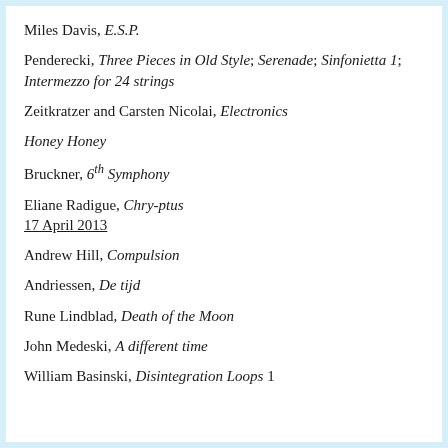Miles Davis, E.S.P.
Penderecki, Three Pieces in Old Style; Serenade; Sinfonietta 1; Intermezzo for 24 strings
Zeitkratzer and Carsten Nicolai, Electronics
Honey Honey
Bruckner, 6th Symphony
Eliane Radigue, Chry-ptus
17 April 2013
Andrew Hill, Compulsion
Andriessen, De tijd
Rune Lindblad, Death of the Moon
John Medeski, A different time
William Basinski, Disintegration Loops 1